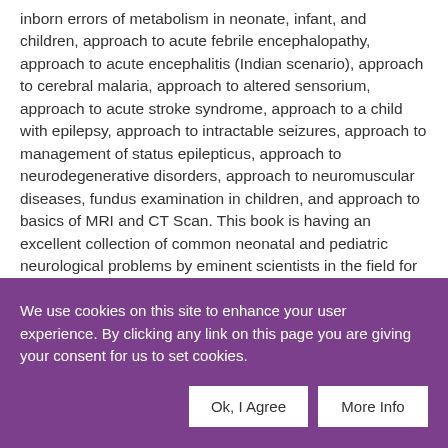inborn errors of metabolism in neonate, infant, and children, approach to acute febrile encephalopathy, approach to acute encephalitis (Indian scenario), approach to cerebral malaria, approach to altered sensorium, approach to acute stroke syndrome, approach to a child with epilepsy, approach to intractable seizures, approach to management of status epilepticus, approach to neurodegenerative disorders, approach to neuromuscular diseases, fundus examination in children, and approach to basics of MRI and CT Scan. This book is having an excellent collection of common neonatal and pediatric neurological problems by eminent scientists in the field for years. This book is useful for the pediatricians in long way.
ADD TO FAVOURITES
We use cookies on this site to enhance your user experience. By clicking any link on this page you are giving your consent for us to set cookies.
Ok, I Agree
More Info